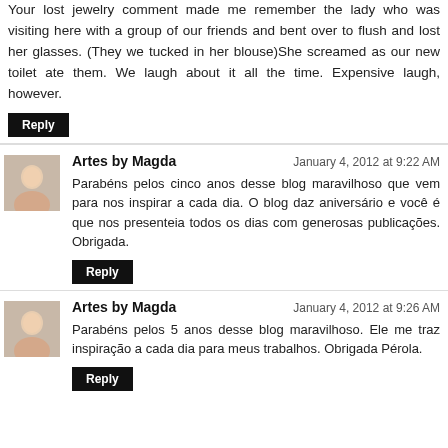Your lost jewelry comment made me remember the lady who was visiting here with a group of our friends and bent over to flush and lost her glasses. (They we tucked in her blouse)She screamed as our new toilet ate them. We laugh about it all the time. Expensive laugh, however.
Reply
Artes by Magda
January 4, 2012 at 9:22 AM
Parabéns pelos cinco anos desse blog maravilhoso que vem para nos inspirar a cada dia. O blog daz aniversário e você é que nos presenteia todos os dias com generosas publicações. Obrigada.
Reply
Artes by Magda
January 4, 2012 at 9:26 AM
Parabéns pelos 5 anos desse blog maravilhoso. Ele me traz inspiração a cada dia para meus trabalhos. Obrigada Pérola.
Reply